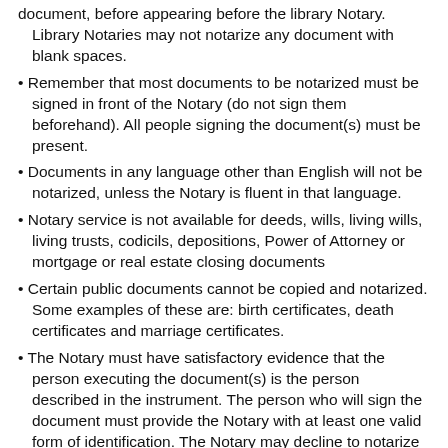document, before appearing before the library Notary. Library Notaries may not notarize any document with blank spaces.
Remember that most documents to be notarized must be signed in front of the Notary (do not sign them beforehand). All people signing the document(s) must be present.
Documents in any language other than English will not be notarized, unless the Notary is fluent in that language.
Notary service is not available for deeds, wills, living wills, living trusts, codicils, depositions, Power of Attorney or mortgage or real estate closing documents
Certain public documents cannot be copied and notarized. Some examples of these are: birth certificates, death certificates and marriage certificates.
The Notary must have satisfactory evidence that the person executing the document(s) is the person described in the instrument. The person who will sign the document must provide the Notary with at least one valid form of identification. The Notary may decline to notarize a document if the signer cannot provide valid identification. Acceptable forms of identification are:
- A current passport from any country, written in a language that the Notary can read;
- A valid driver’s license from any state of the United States;
- A valid non-driver’s photo identification card from any state of the United States; or